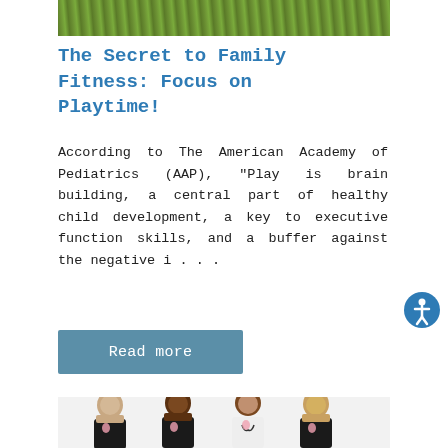[Figure (photo): Partial view of outdoor grass/nature scene at top of page]
The Secret to Family Fitness: Focus on Playtime!
According to The American Academy of Pediatrics (AAP), "Play is brain building, a central part of healthy child development, a key to executive function skills, and a buffer against the negative i . . .
Read more
[Figure (photo): Four women wearing black t-shirts with pink ribbon badges, one in a white doctor's coat, posing together against a white background]